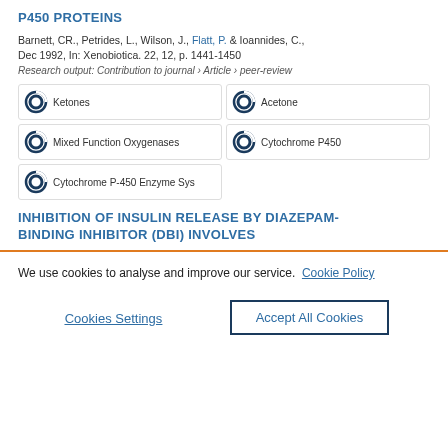P450 PROTEINS
Barnett, CR., Petrides, L., Wilson, J., Flatt, P. & Ioannides, C., Dec 1992, In: Xenobiotica. 22, 12, p. 1441-1450
Research output: Contribution to journal › Article › peer-review
[Figure (infographic): Five keyword badges with donut icons: Ketones, Acetone, Mixed Function Oxygenases, Cytochrome P450, Cytochrome P-450 Enzyme Sys]
INHIBITION OF INSULIN RELEASE BY DIAZEPAM-BINDING INHIBITOR (DBI) INVOLVES
We use cookies to analyse and improve our service. Cookie Policy
Cookies Settings
Accept All Cookies